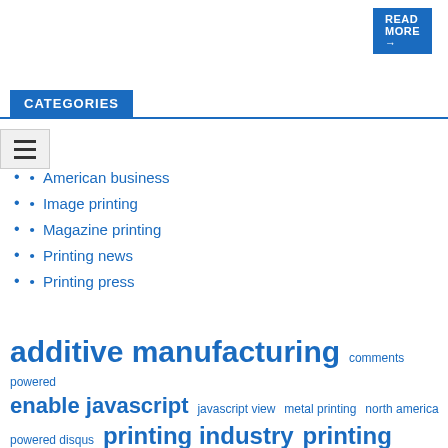READ MORE →
CATEGORIES
American business
Image printing
Magazine printing
Printing news
Printing press
additive manufacturing  comments powered  enable javascript  javascript view  metal printing  north america  powered disqus  printing industry  printing news  printing press  printing technology  today printing  united states  vice president  view comments